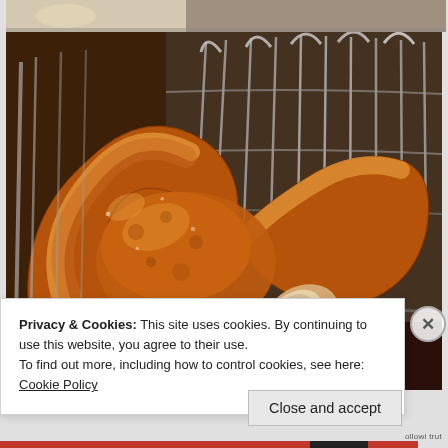[Figure (photo): A large golden-brown pretzel in a wire metal basket. The pretzel has a shiny baked surface with a broken end showing the soft bread interior. The basket has vertical wire rods and the background shows a dark wooden surface.]
Privacy & Cookies: This site uses cookies. By continuing to use this website, you agree to their use.
To find out more, including how to control cookies, see here:
Cookie Policy
Close and accept